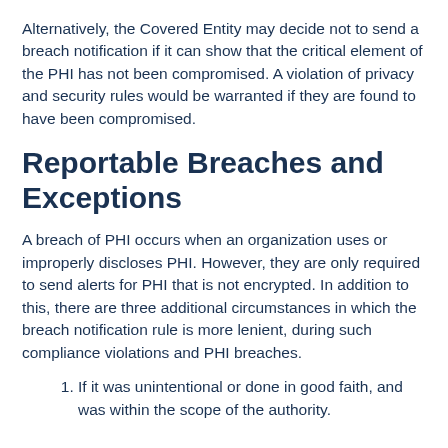Alternatively, the Covered Entity may decide not to send a breach notification if it can show that the critical element of the PHI has not been compromised. A violation of privacy and security rules would be warranted if they are found to have been compromised.
Reportable Breaches and Exceptions
A breach of PHI occurs when an organization uses or improperly discloses PHI. However, they are only required to send alerts for PHI that is not encrypted. In addition to this, there are three additional circumstances in which the breach notification rule is more lenient, during such compliance violations and PHI breaches.
If it was unintentional or done in good faith, and was within the scope of the authority.